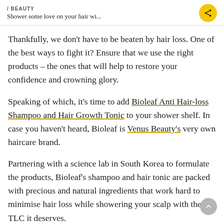/ BEAUTY
Shower some love on your hair wi...
Thankfully, we don't have to be beaten by hair loss. One of the best ways to fight it? Ensure that we use the right products – the ones that will help to restore your confidence and crowning glory.
Speaking of which, it's time to add Bioleaf Anti Hair-loss Shampoo and Hair Growth Tonic to your shower shelf. In case you haven't heard, Bioleaf is Venus Beauty's very own haircare brand.
Partnering with a science lab in South Korea to formulate the products, Bioleaf's shampoo and hair tonic are packed with precious and natural ingredients that work hard to minimise hair loss while showering your scalp with the TLC it deserves.